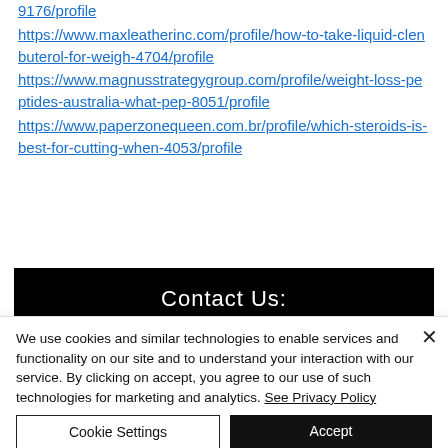9176/profile
https://www.maxleatherinc.com/profile/how-to-take-liquid-clenbuterol-for-weigh-4704/profile
https://www.magnusstrategygroup.com/profile/weight-loss-peptides-australia-what-pep-8051/profile
https://www.paperzonequeen.com.br/profile/which-steroids-is-best-for-cutting-when-4053/profile
Contact Us:
We use cookies and similar technologies to enable services and functionality on our site and to understand your interaction with our service. By clicking on accept, you agree to our use of such technologies for marketing and analytics. See Privacy Policy